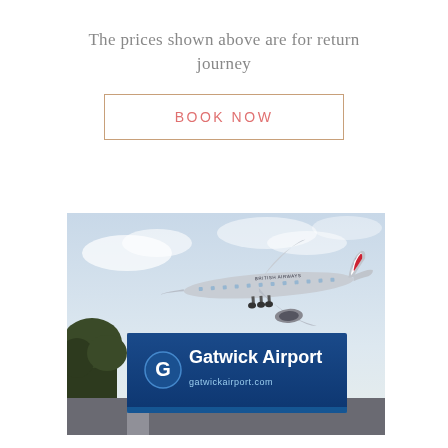The prices shown above are for return journey
BOOK NOW
[Figure (photo): A British Airways airplane flying over a Gatwick Airport sign. The photo shows a large commercial aircraft in flight low in the sky, with a prominent blue Gatwick Airport sign in the foreground featuring the Gatwick 'G' logo.]